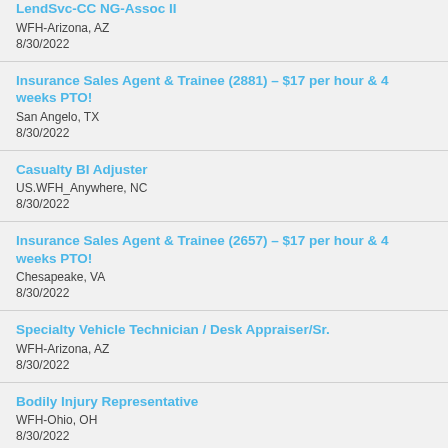LendSvc-CC NG-Assoc II
WFH-Arizona, AZ
8/30/2022
Insurance Sales Agent & Trainee (2881) – $17 per hour & 4 weeks PTO!
San Angelo, TX
8/30/2022
Casualty BI Adjuster
US.WFH_Anywhere, NC
8/30/2022
Insurance Sales Agent & Trainee (2657) – $17 per hour & 4 weeks PTO!
Chesapeake, VA
8/30/2022
Specialty Vehicle Technician / Desk Appraiser/Sr.
WFH-Arizona, AZ
8/30/2022
Bodily Injury Representative
WFH-Ohio, OH
8/30/2022